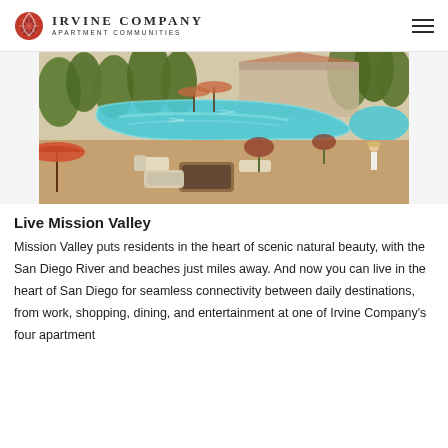Irvine Company Apartment Communities
[Figure (photo): Aerial view of a luxury apartment community pool area with lounge seating, umbrellas, lush landscaping, and a meandering pool. Outdoor furniture and a fire pit area visible in the foreground.]
Live Mission Valley
Mission Valley puts residents in the heart of scenic natural beauty, with the San Diego River and beaches just miles away. And now you can live in the heart of San Diego for seamless connectivity between daily destinations, from work, shopping, dining, and entertainment at one of Irvine Company's four apartment